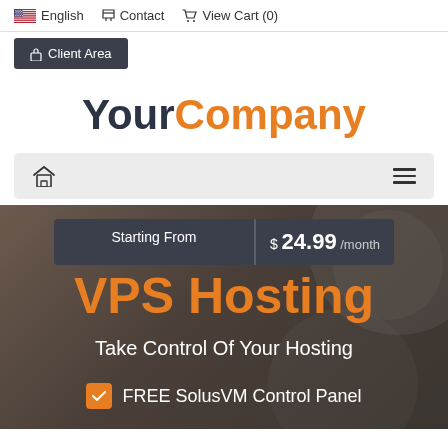English  Contact  View Cart (0)
Client Area
YourCompany
[Figure (screenshot): Navigation bar with home icon on left and hamburger menu icon on right, light gray background]
Starting From  $ 24.99 /month
VPS Hosting
Take Control Of Your Hosting
FREE SolusVM Control Panel